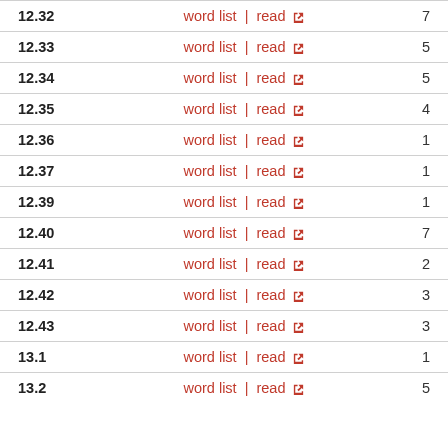| Section | Links | Count |
| --- | --- | --- |
| 12.32 | word list | read | 7 |
| 12.33 | word list | read | 5 |
| 12.34 | word list | read | 5 |
| 12.35 | word list | read | 4 |
| 12.36 | word list | read | 1 |
| 12.37 | word list | read | 1 |
| 12.39 | word list | read | 1 |
| 12.40 | word list | read | 7 |
| 12.41 | word list | read | 2 |
| 12.42 | word list | read | 3 |
| 12.43 | word list | read | 3 |
| 13.1 | word list | read | 1 |
| 13.2 | word list | read | 5 |